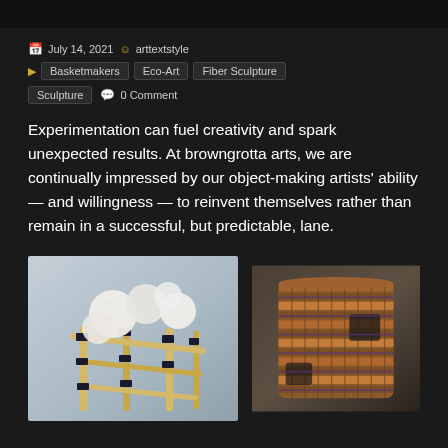July 14, 2021  arttextstyle  Basketmakers  Eco-Art  Fiber Sculpture  Sculpture  0 Comment
Experimentation can fuel creativity and spark unexpected results. At browngrotta arts, we are continually impressed by our object-making artists' ability — and willingness — to reinvent themselves rather than remain in a successful, but predictable, lane.
[Figure (photo): Two art works side by side: left shows a sculptural piece with white fluffy balls resting on a bamboo/reed scaffolding structure with black bindings; right shows a cylindrical woven basket with orange/brown weaving and dark decorative elements]